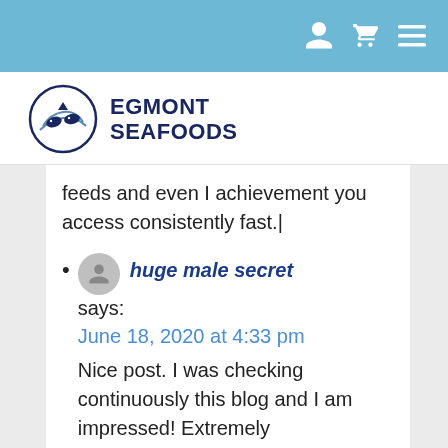[header icons: user, cart, menu]
[Figure (logo): Egmont Seafoods logo: circular emblem with fish and waves, next to bold text EGMONT SEAFOODS]
feeds and even I achievement you access consistently fast.|
huge male secret says: June 18, 2020 at 4:33 pm Nice post. I was checking continuously this blog and I am impressed! Extremely